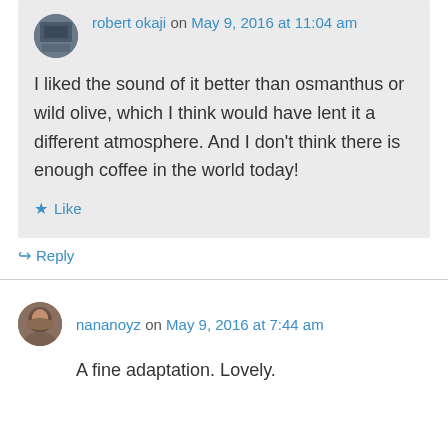robert okaji on May 9, 2016 at 11:04 am
I liked the sound of it better than osmanthus or wild olive, which I think would have lent it a different atmosphere. And I don't think there is enough coffee in the world today!
Like
Reply
nananoyz on May 9, 2016 at 7:44 am
A fine adaptation. Lovely.